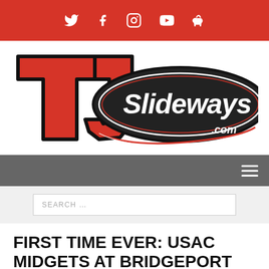Social media icons bar: Twitter, Facebook, Instagram, YouTube, Apple
[Figure (logo): TJ Slideways .com logo — red and black racing-style lettering with swoosh]
Navigation bar with hamburger menu icon
SEARCH …
FIRST TIME EVER: USAC MIDGETS AT BRIDGEPORT THURSDAY
[Figure (photo): Partial photo strip at the bottom of the page showing a racing track scene]